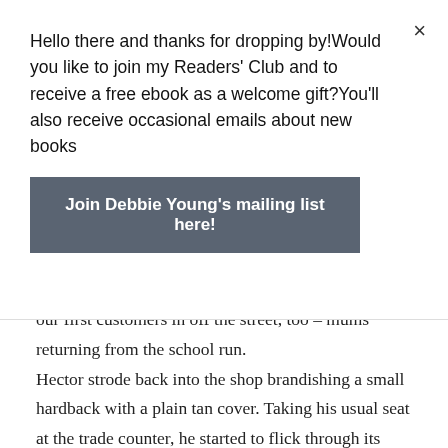Hello there and thanks for dropping by!Would you like to join my Readers' Club and to receive a free ebook as a welcome gift?You'll also receive occasional emails about new books
Join Debbie Young's mailing list here!
our first customers in off the street, too – mums returning from the school run.
Hector strode back into the shop brandishing a small hardback with a plain tan cover. Taking his usual seat at the trade counter, he started to flick through its yellowing pages. He didn't look up when I set down in front of him a tiny espresso cup branded with The Birds by Daphne du Maurier. My wit was wasted on him. To be fair, the book he was reading was engrossing. On almost